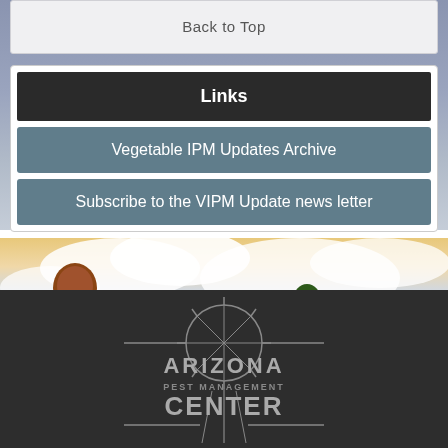Back to Top
Links
Vegetable IPM Updates Archive
Subscribe to the VIPM Update news letter
[Figure (photo): Landscape photo with a tree, green field, and dramatic cloudy sunset sky]
[Figure (logo): Arizona Pest Management Center logo with sunburst circle and horizontal lines]